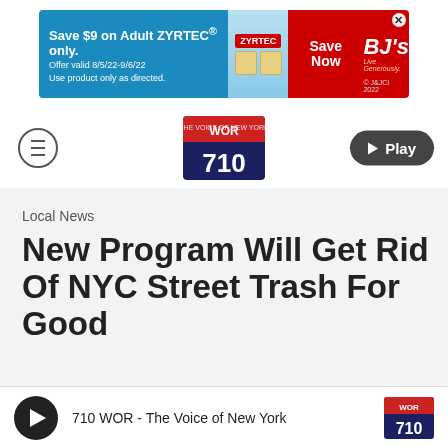[Figure (other): Advertisement banner: Save $9 on Adult ZYRTEC only. Offer valid 8/5/22-9/6/22. Use product only as directed. Save Now. BJ's Live Generously. © J&JCI 2022.]
[Figure (logo): WOR 710 The Voice of New York logo]
[Figure (other): Play button (dark rounded rectangle with triangle play icon and text 'Play')]
Local News
New Program Will Get Rid Of NYC Street Trash For Good
By Allie Gold
710 WOR - The Voice of New York
[Figure (logo): WOR 710 small logo in audio player]